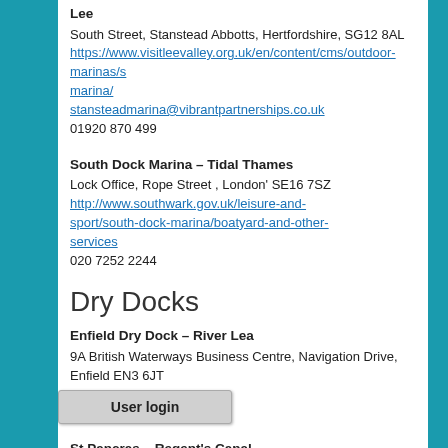Lee
South Street, Stanstead Abbotts, Hertfordshire, SG12 8AL
https://www.visitleevalley.org.uk/en/content/cms/outdoor-marinas/stanstead-marina/
standsteadmarina@vibrantpartnerships.co.uk
01920 870 499
South Dock Marina – Tidal Thames
Lock Office, Rope Street , London' SE16 7SZ
http://www.southwark.gov.uk/leisure-and-sport/south-dock-marina/boatyard-and-other-services
020 7252 2244
Dry Docks
Enfield Dry Dock – River Lea
9A British Waterways Business Centre, Navigation Drive, Enfield EN3 6JT
http://enfielddrydock.co.uk/
07971 606414
St Pancras – Regent's Canal
St Pancras Yacht Basin, Camley Street, London, N1C 4PN
http://dev.stpancrascc.co.uk/?q=contact
020 7278 2858 (Dry Dock Answerphone)